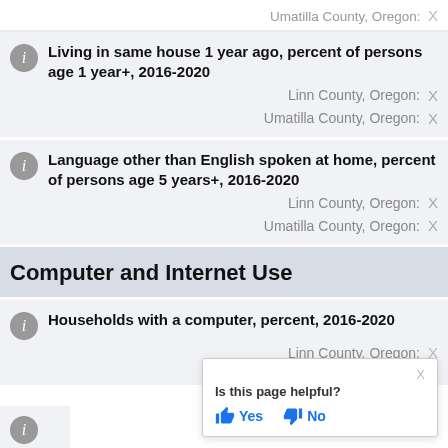Umatilla County, Oregon: X
Living in same house 1 year ago, percent of persons age 1 year+, 2016-2020
Linn County, Oregon: X
Umatilla County, Oregon: X
Language other than English spoken at home, percent of persons age 5 years+, 2016-2020
Linn County, Oregon: X
Umatilla County, Oregon: X
Computer and Internet Use
Households with a computer, percent, 2016-2020
Linn County, Oregon: X
Umatilla County, Oregon: X
Is this page helpful? Yes No